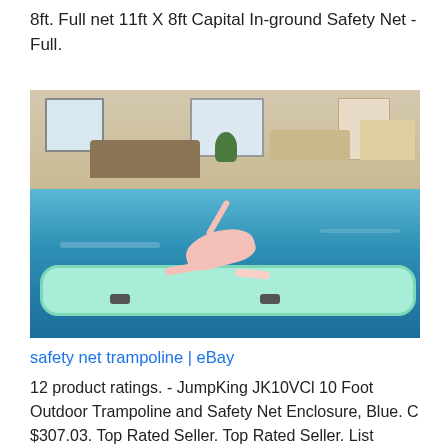8ft. Full net 11ft X 8ft Capital In-ground Safety Net - Full.
[Figure (photo): A gymnast or dancer performing a split on a mint-green inflatable air track mat floating in a swimming pool, with patio furniture and indoor space visible in the background.]
safety net trampoline | eBay
12 product ratings. - JumpKing JK10VCl 10 Foot Outdoor Trampoline and Safety Net Enclosure, Blue. C $307.03. Top Rated Seller. Top Rated Seller. List